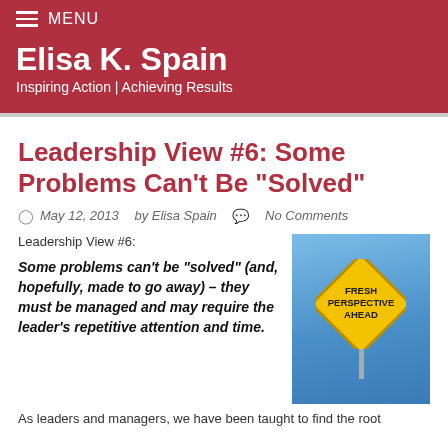MENU
Elisa K. Spain
Inspiring Action | Achieving Results
Leadership View #6: Some Problems Can't Be “Solved”
May 12, 2013  by Elisa Spain  No Comments
Leadership View #6:
Some problems can’t be “solved” (and, hopefully, made to go away) – they must be managed and may require the leader’s repetitive attention and time.
[Figure (photo): A yellow diamond-shaped road sign reading FRESH PERSPECTIVE AHEAD against a blue sky]
As leaders and managers, we have been taught to find the root